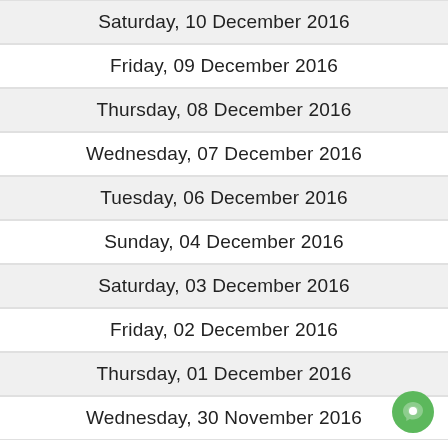Saturday, 10 December 2016
Friday, 09 December 2016
Thursday, 08 December 2016
Wednesday, 07 December 2016
Tuesday, 06 December 2016
Sunday, 04 December 2016
Saturday, 03 December 2016
Friday, 02 December 2016
Thursday, 01 December 2016
Wednesday, 30 November 2016